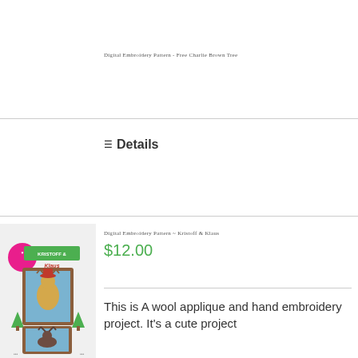Digital Embroidery Pattern - Free Charlie Brown Tree
Details
Digital Embroidery Pattern ~ Kristoff & Klaus
$12.00
This is A wool applique and hand embroidery project. It's a cute project